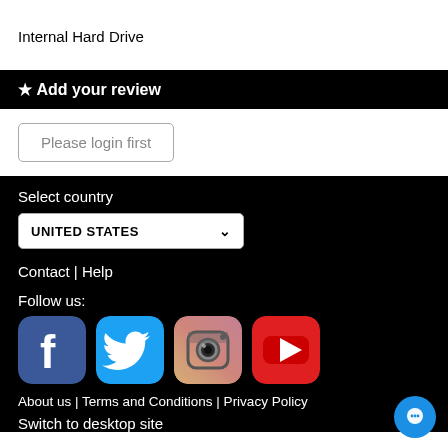Internal Hard Drive
★ Add your review
Please login first
Select country
UNITED STATES
Contact | Help
Follow us:
[Figure (logo): Facebook, Twitter, Instagram, YouTube social media icons]
About us | Terms and Conditions | Privacy Policy
Switch to desktop site